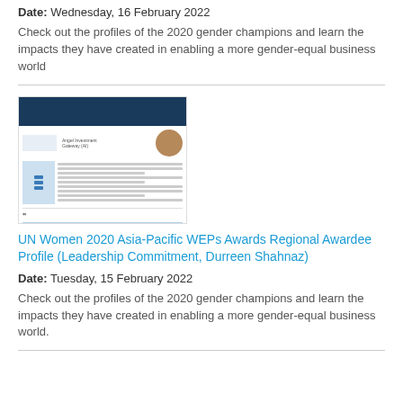Date: Wednesday, 16 February 2022
Check out the profiles of the 2020 gender champions and learn the impacts they have created in enabling a more gender-equal business world
[Figure (photo): Thumbnail image of a document profile page showing UN Women 2020 Asia-Pacific WEPs Awards Regional Awardee Profile with a photo of a woman and document content]
UN Women 2020 Asia-Pacific WEPs Awards Regional Awardee Profile (Leadership Commitment, Durreen Shahnaz)
Date: Tuesday, 15 February 2022
Check out the profiles of the 2020 gender champions and learn the impacts they have created in enabling a more gender-equal business world.